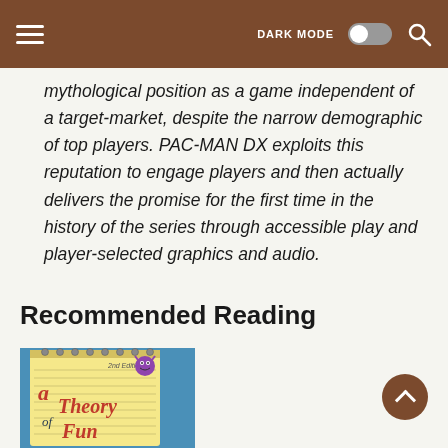DARK MODE [toggle] [search]
mythological position as a game independent of a target-market, despite the narrow demographic of top players. PAC-MAN DX exploits this reputation to engage players and then actually delivers the promise for the first time in the history of the series through accessible play and player-selected graphics and audio.
Recommended Reading
[Figure (photo): Book cover of 'A Theory of Fun' 2nd Edition with illustrated characters on a notepad-style yellow background with blue backdrop]